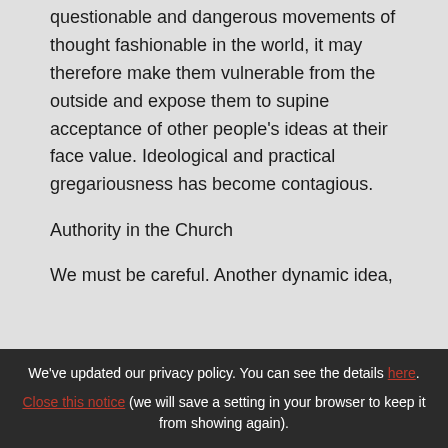questionable and dangerous movements of thought fashionable in the world, it may therefore make them vulnerable from the outside and expose them to supine acceptance of other people's ideas at their face value. Ideological and practical gregariousness has become contagious.
Authority in the Church
We must be careful. Another dynamic idea,
We've updated our privacy policy. You can see the details here. Close this notice (we will save a setting in your browser to keep it from showing again).